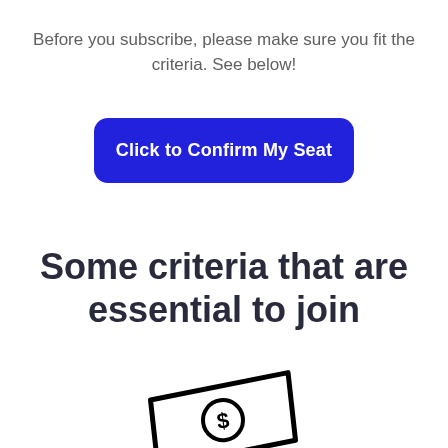Before you subscribe, please make sure you fit the criteria. See below!
[Figure (other): Blue rounded rectangle button with white bold text reading 'Click to Confirm My Seat']
Some criteria that are essential to join
[Figure (illustration): Black outline illustration of a dollar bill / money note with a dollar sign circle in the center]